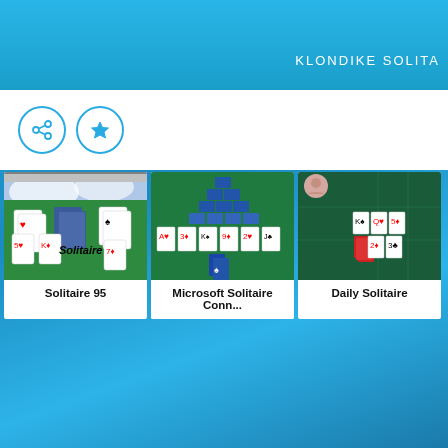KLONDIKE SOLITA
[Figure (screenshot): Share and favorite icon buttons on white navigation strip]
[Figure (screenshot): Solitaire 95 game thumbnail showing playing cards on green felt with Solitaire95 logo]
Solitaire 95
[Figure (screenshot): Microsoft Solitaire Collection game thumbnail showing card pyramid arrangement on green felt]
Microsoft Solitaire Conn...
[Figure (screenshot): Daily Solitaire game thumbnail showing playing cards on dark green felt]
Daily Solitaire